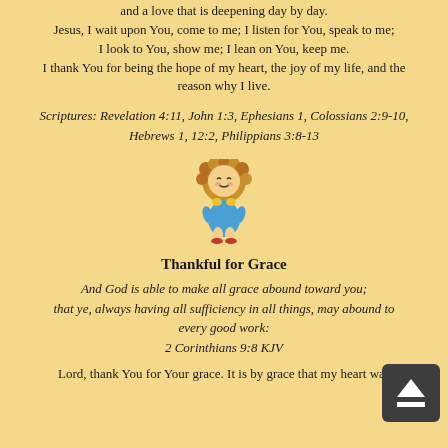and a love that is deepening day by day. Jesus, I wait upon You, come to me; I listen for You, speak to me; I look to You, show me; I lean on You, keep me. I thank You for being the hope of my heart, the joy of my life, and the reason why I live.
Scriptures: Revelation 4:11, John 1:3, Ephesians 1, Colossians 2:9-10, Hebrews 1, 12:2, Philippians 3:8-13
[Figure (illustration): A small cartoon doll or lion cub figure sitting, with curly hair and a colorful outfit]
Thankful for Grace
And God is able to make all grace abound toward you; that ye, always having all sufficiency in all things, may abound to every good work: 2 Corinthians 9:8 KJV
Lord, thank You for Your grace. It is by grace that my heart was